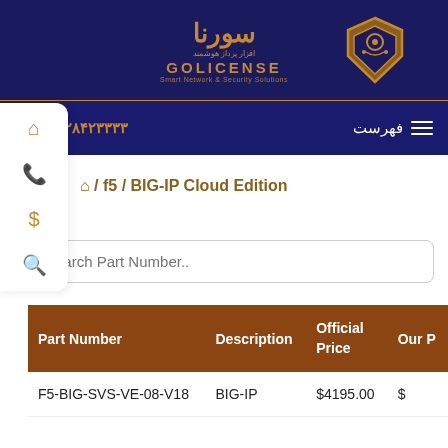[Figure (logo): Sorna Golicense logo with Persian text, gold and blue colors, shield icon]
فهرست | ۰۲۱۲۸۴۲۳۳۳۳
🏠 / f5 / BIG-IP Cloud Edition
Search Part Number..
| Part Number | Description | Official Price | Our P |
| --- | --- | --- | --- |
| F5-BIG-SVS-VE-08-V18 | BIG-IP | $4195.00 | $ |